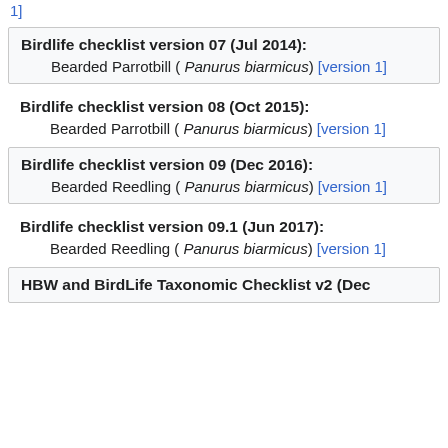[version 1]
Birdlife checklist version 07 (Jul 2014): Bearded Parrotbill ( Panurus biarmicus) [version 1]
Birdlife checklist version 08 (Oct 2015): Bearded Parrotbill ( Panurus biarmicus) [version 1]
Birdlife checklist version 09 (Dec 2016): Bearded Reedling ( Panurus biarmicus) [version 1]
Birdlife checklist version 09.1 (Jun 2017): Bearded Reedling ( Panurus biarmicus) [version 1]
HBW and BirdLife Taxonomic Checklist v2 (Dec